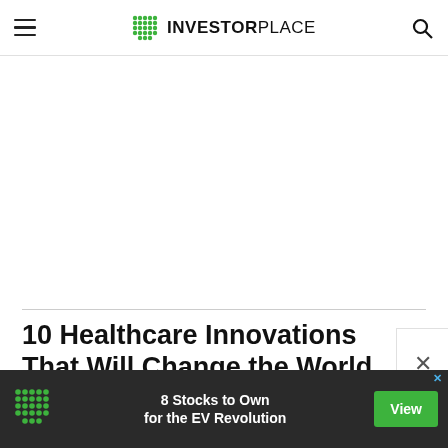InvestorPlace
10 Healthcare Innovations That Will Change the World
[Figure (screenshot): Bottom banner advertisement: dark background with InvestorPlace green dot logo, text '8 Stocks to Own for the EV Revolution', and a green 'View' button]